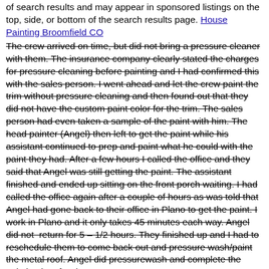of search results and may appear in sponsored listings on the top, side, or bottom of the search results page. House Painting Broomfield CO
The crew arrived on time, but did not bring a pressure cleaner with them. The insurance company clearly stated the charges for pressure cleaning before painting and I had confirmed this with the sales person. I went ahead and let the crew paint the trim without pressure cleaning and then found out that they did not have the custom paint color for the trim. The sales person had even taken a sample of the paint with him. The head painter (Angel) then left to get the paint while his assistant continued to prep and paint what he could with the paint they had. After a few hours I called the office and they said that Angel was still getting the paint. The assistant finished and ended up sitting on the front porch waiting. I had called the office again after a couple of hours as was told that Angel had gone back to their office in Plano to get the paint. I work in Plano and it only takes 45 minutes each way. Angel did not return for 5 – 1/2 hours. They finished up and I had to reschedule them to come back out and pressure wash/paint the metal roof. Angel did pressurewash and complete the painting in a few hours. Broomfield Home Painting
If you have two weeks, a ladder and some experience, this makes an excellent DIY project. On most surfaces, it is forgiving of mistakes and